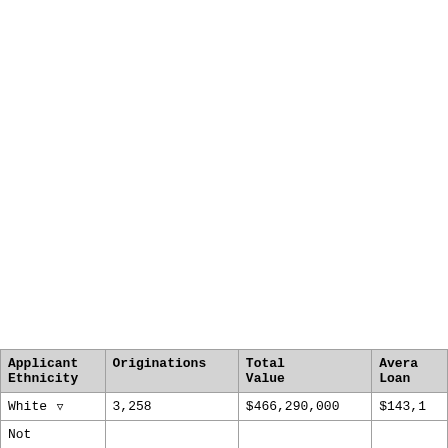| Applicant Ethnicity | Originations | Total Value | Average Loan |
| --- | --- | --- | --- |
| White ▽ | 3,258 | $466,290,000 | $143,1... |
| Not... |  |  |  |